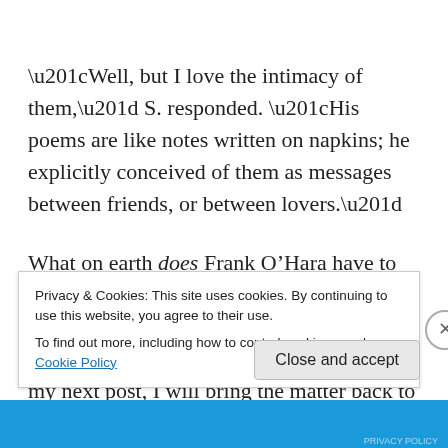“Well, but I love the intimacy of them,” S. responded. “His poems are like notes written on napkins; he explicitly conceived of them as messages between friends, or between lovers.”
What on earth does Frank O’Hara have to do with global warming? To answer that, we have first to examine the apocalyptic fantasies themselves. That is this post; in my next post, I will bring the matter back to O’Hara and his
Privacy & Cookies: This site uses cookies. By continuing to use this website, you agree to their use.
To find out more, including how to control cookies, see here: Cookie Policy
Close and accept